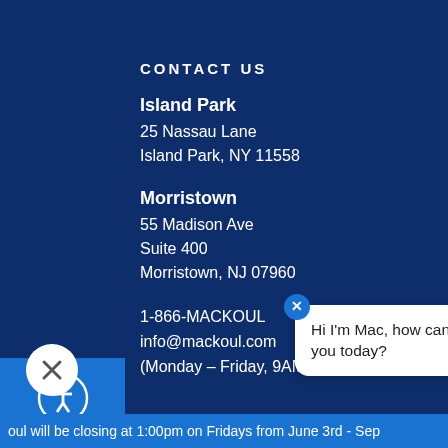CONTACT US
Island Park
25 Nassau Lane
Island Park, NY 11558
Morristown
55 Madison Ave
Suite 400
Morristown, NJ 07960
1-866-MACKOUL
info@mackoul.com
(Monday – Friday, 9AM – 5PM ET)
[Figure (other): Accessibility icon button (wheelchair figure in circle) in blue bar on left side]
[Figure (other): Chatbot speech bubble with text 'Hi I'm Mac, how can I help you today?' with close button, and avatar of female cartoon figure with glasses]
[Figure (other): White circular close/dismiss button with X icon at bottom left]
oul will be closing at 1:00pm on Fridays from June 3rd - Sep